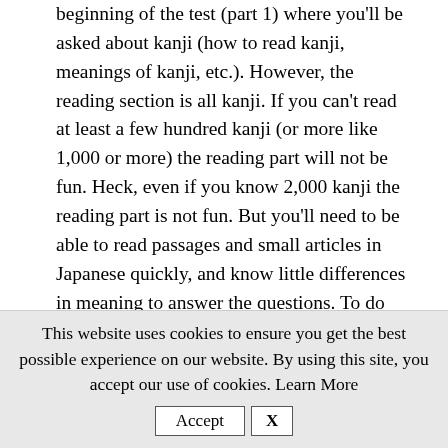beginning of the test (part 1) where you'll be asked about kanji (how to read kanji, meanings of kanji, etc.). However, the reading section is all kanji. If you can't read at least a few hundred kanji (or more like 1,000 or more) the reading part will not be fun. Heck, even if you know 2,000 kanji the reading part is not fun. But you'll need to be able to read passages and small articles in Japanese quickly, and know little differences in meaning to answer the questions. To do this, I highly recommend reading
This website uses cookies to ensure you get the best possible experience on our website. By using this site, you accept our use of cookies. Learn More